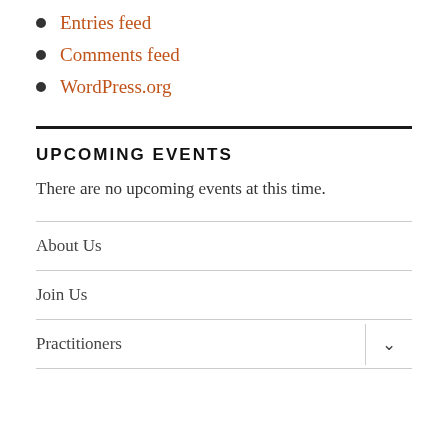Entries feed
Comments feed
WordPress.org
UPCOMING EVENTS
There are no upcoming events at this time.
About Us
Join Us
Practitioners